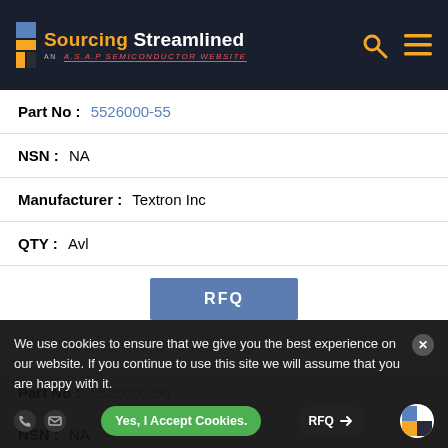Sourcing Streamlined — AN A.S.A.P SEMICONDUCTOR WEBSITE
| Field | Value |
| --- | --- |
| Part No | 5526000-55 |
| NSN | NA |
| Manufacturer | Textron Inc |
| QTY | Avl |
|  | RFQ |
| Field | Value |
| --- | --- |
| Part No | 5526000-56 |
| NSN | NA |
| Manufacturer | Textron... |
We use cookies to ensure that we give you the best experience on our website. If you continue to use this site we will assume that you are happy with it.